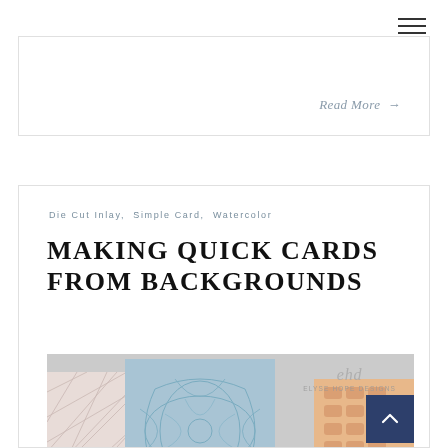☰ (navigation menu icon)
Read More →
Die Cut Inlay, Simple Card, Watercolor
MAKING QUICK CARDS FROM BACKGROUNDS
[Figure (photo): Three handmade cards displayed on a light grey background. Left card is pale pink with a geometric triangle/diamond grid pattern. Center card is light blue with a floral/botanical die-cut design. Right card is peach/orange with a hexagonal cutout pattern. The Elyse Hope Designs logo watermark is visible at the top right of the photo. A dark navy back-to-top chevron button overlays the bottom right.]